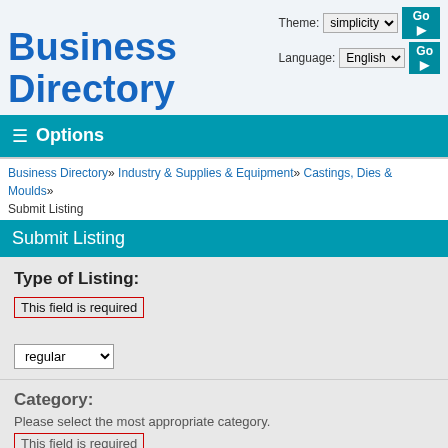Business Directory
Theme: simplicity  Go  Language: English  Go
≡ Options
Business Directory » Industry & Supplies & Equipment » Castings, Dies & Moulds » Submit Listing
Submit Listing
Type of Listing:
This field is required
regular ▾
Category:
Please select the most appropriate category.
This field is required
This website uses cookies to enhance your experience. Read our privacy policy
details